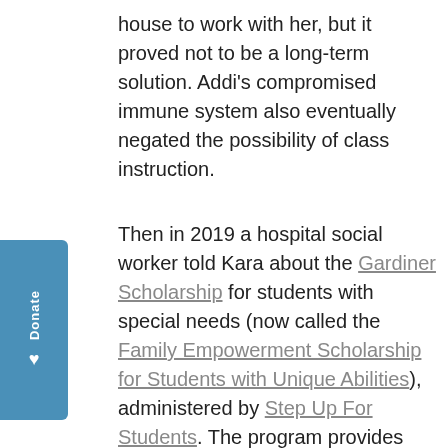house to work with her, but it proved not to be a long-term solution. Addi's compromised immune system also eventually negated the possibility of class instruction.
Then in 2019 a hospital social worker told Kara about the Gardiner Scholarship for students with special needs (now called the Family Empowerment Scholarship for Students with Unique Abilities), administered by Step Up For Students. The program provides families with up to $10,000 annually in an education savings account, which gives them the flexibility to spend the funds in a variety of ways to customize their children's education – on private school tuition, materials, therapies, etc.